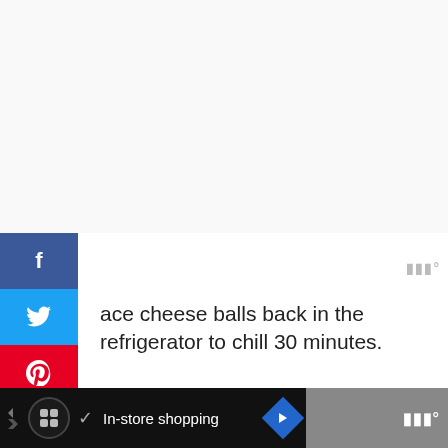[Figure (photo): Social media sharing sidebar with Facebook (blue), Twitter (cyan), Pinterest (red), Yummly (orange), Mix (orange-red) buttons]
ace cheese balls back in the refrigerator to chill 30 minutes.
[Figure (photo): Six breaded/coated cheese balls arranged on a wooden cutting board, viewed from above. Photo includes a 'What's Next: Granola-Dipped...' overlay card in bottom right.]
[Figure (screenshot): Bottom advertisement bar showing an app icon, checkmark, 'In-store shopping' text, a blue diamond arrow icon, and a watermark logo on dark/grey background]